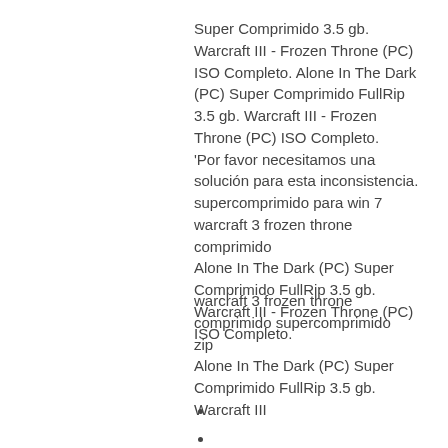Super Comprimido 3.5 gb.  Warcraft III - Frozen Throne (PC) ISO Completo. Alone In The Dark (PC) Super Comprimido FullRip 3.5 gb. Warcraft III - Frozen Throne (PC) ISO Completo. 'Por favor necesitamos una solución para esta inconsistencia. supercomprimido para win 7 warcraft 3 frozen throne comprimido Alone In The Dark (PC) Super Comprimido FullRip 3.5 gb. Warcraft III - Frozen Throne (PC) ISO Completo.
warcraft 3 frozen throne comprimido supercomprimido zip Alone In The Dark (PC) Super Comprimido FullRip 3.5 gb. Warcraft III